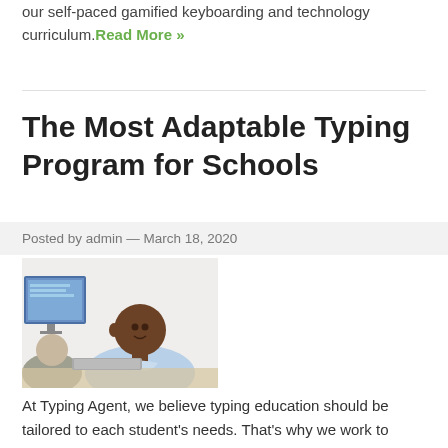to continue instructing your K-12 students at home through our self-paced gamified keyboarding and technology curriculum. Read More »
The Most Adaptable Typing Program for Schools
Posted by admin — March 18, 2020
[Figure (photo): A young student sitting at a school computer, looking toward the camera]
At Typing Agent, we believe typing education should be tailored to each student's needs. That's why we work to make our lessons accessible to students with ability differences and